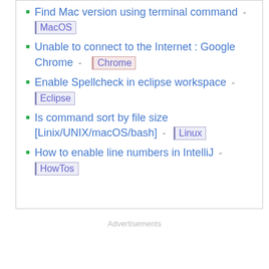Find Mac version using terminal command - MacOS
Unable to connect to the Internet : Google Chrome - Chrome
Enable Spellcheck in eclipse workspace - Eclipse
Is command sort by file size [Linix/UNIX/macOS/bash] - Linux
How to enable line numbers in IntelliJ - HowTos
Advertisements